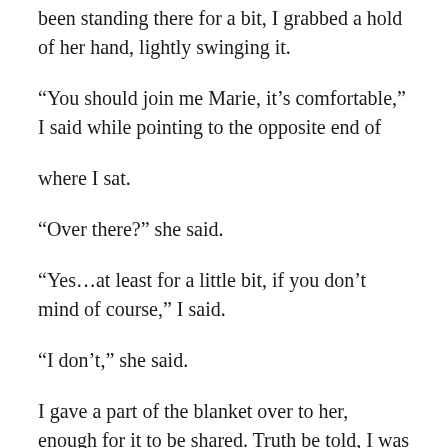been standing there for a bit, I grabbed a hold of her hand, lightly swinging it.
“You should join me Marie, it’s comfortable,” I said while pointing to the opposite end of
where I sat.
“Over there?” she said.
“Yes…at least for a little bit, if you don’t mind of course,” I said.
“I don’t,” she said.
I gave a part of the blanket over to her, enough for it to be shared. Truth be told, I was struggling to part with it. Maybe I’d just gotten too comfortable. Afterall, it held